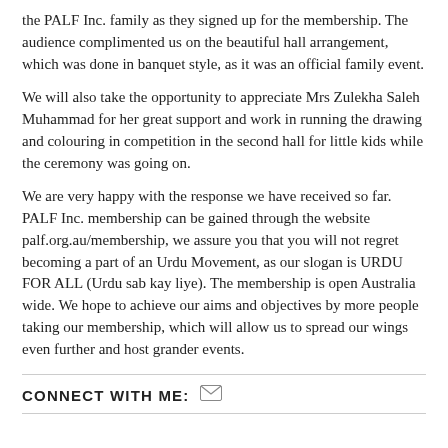the PALF Inc. family as they signed up for the membership. The audience complimented us on the beautiful hall arrangement, which was done in banquet style, as it was an official family event.
We will also take the opportunity to appreciate Mrs Zulekha Saleh Muhammad for her great support and work in running the drawing and colouring in competition in the second hall for little kids while the ceremony was going on.
We are very happy with the response we have received so far. PALF Inc. membership can be gained through the website palf.org.au/membership, we assure you that you will not regret becoming a part of an Urdu Movement, as our slogan is URDU FOR ALL (Urdu sab kay liye). The membership is open Australia wide. We hope to achieve our aims and objectives by more people taking our membership, which will allow us to spread our wings even further and host grander events.
CONNECT WITH ME: